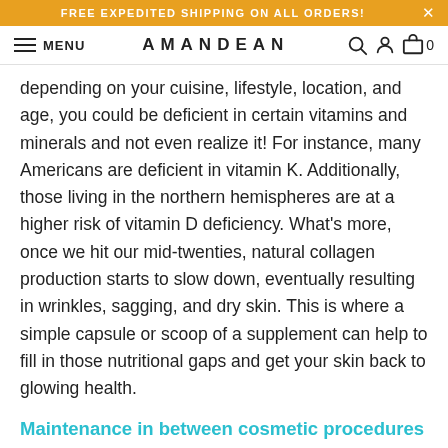FREE EXPEDITED SHIPPING ON ALL ORDERS!
AMANDEAN  MENU
depending on your cuisine, lifestyle, location, and age, you could be deficient in certain vitamins and minerals and not even realize it! For instance, many Americans are deficient in vitamin K. Additionally, those living in the northern hemispheres are at a higher risk of vitamin D deficiency. What’s more, once we hit our mid-twenties, natural collagen production starts to slow down, eventually resulting in wrinkles, sagging, and dry skin. This is where a simple capsule or scoop of a supplement can help to fill in those nutritional gaps and get your skin back to glowing health.
Maintenance in between cosmetic procedures
Cosmetic procedures often come with a lot of homework. Side effects vary depending on the